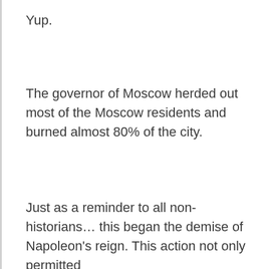Yup.
The governor of Moscow herded out most of the Moscow residents and burned almost 80% of the city.
Just as a reminder to all non-historians… this began the demise of Napoleon's reign. This action not only permitted